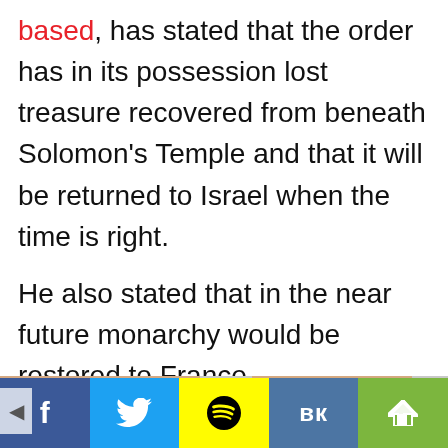based, has stated that the order has in its possession lost treasure recovered from beneath Solomon's Temple and that it will be returned to Israel when the time is right.

He also stated that in the near future monarchy would be restored to France
[Figure (photo): Screenshot of a web article with thumbnail images at bottom showing close-up photos of teeth/mouth and a chin, with social media share bar (Facebook, Twitter, Snapchat, VK, share) at the very bottom]